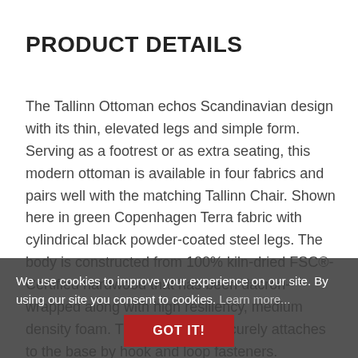PRODUCT DETAILS
The Tallinn Ottoman echos Scandinavian design with its thin, elevated legs and simple form. Serving as a footrest or as extra seating, this modern ottoman is available in four fabrics and pairs well with the matching Tallinn Chair. Shown here in green Copenhagen Terra fabric with cylindrical black powder-coated steel legs. The body is constructed from 100% kiln-dried FSC®-Certified hardwood that has been dacron-wrapped along with high resiliency, medium density foam. The upholstery securely attaches to the base by hook and loop fasteners. Manufactured to meet California TB117-2013 fire safety standards, without the use of flame retardant additives in the upholstery foam. The fabric has been double rub tested nad non-marking leveler feet can be adjusted to
We use cookies to improve your experience on our site. By using our site you consent to cookies. Learn more... GOT IT!